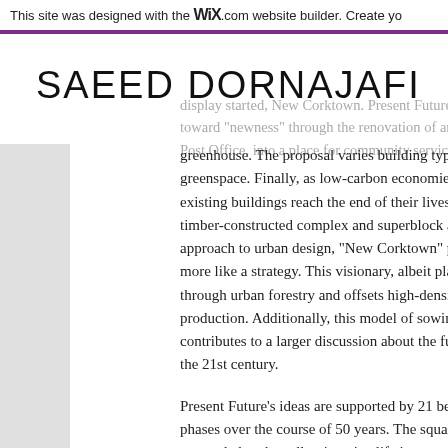This site was designed with the WIX.com website builder. Create yo
SAEED DORNAJAFI
display started, New Corktown. Present Future's project tak toward “newness” through the renovation of an existing b Post Office, into a place for community services, including greenhouse. The proposal varies building types with integ greenspace. Finally, as low-carbon economies of scale de existing buildings reach the end of their lives, Present Fut timber-constructed complex and superblock at the same rasa approach to urban design, “New Corktown” propose perform more like a strategy. This visionary, albeit plausib space through urban forestry and offsets high-density co timber production. Additionally, this model of sowing the s contributes to a larger discussion about the future and via of the 21st century.
Present Future’s ideas are supported by 21 beautifully de year phases over the course of 50 years. The square dra have responded to the call to imagine life in a postindustr attention to detail and thoughtful organization with A